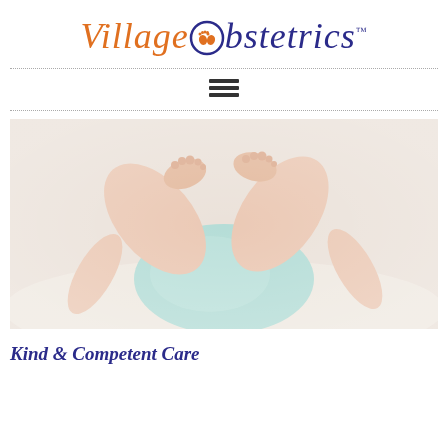[Figure (logo): Village Obstetrics logo with orange italic 'Village' text, a circular baby footprints icon, and dark blue italic 'Obstetrics' text with TM mark]
[Figure (photo): Close-up photo of a baby lying on its back with feet raised up toward the camera, wearing a light teal/mint onesie, soft white background]
Kind & Competent Care